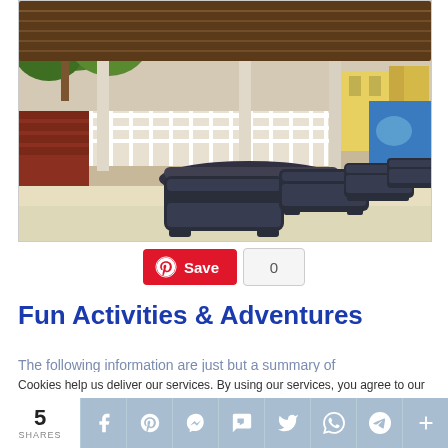[Figure (photo): Beach resort scene showing dark wicker lounge chairs on white sand, with a thatched roof pergola overhead, a beached boat, tropical greenery and colorful buildings in the background]
Save 0
Fun Activities & Adventures
The following information are just but a summary of what Cabana Beach Club Resort is offering to its
Cookies help us deliver our services. By using our services, you agree to our
5 SHARES